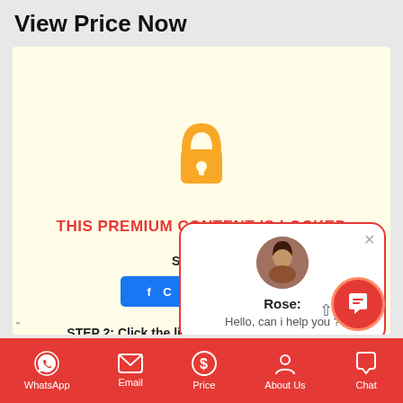View Price Now
[Figure (screenshot): Locked premium content screen with padlock icon, steps to unlock, Facebook button, and a chat popup from Rose saying 'Hello, can i help you ?']
WhatsApp | Email | Price | About Us | Chat